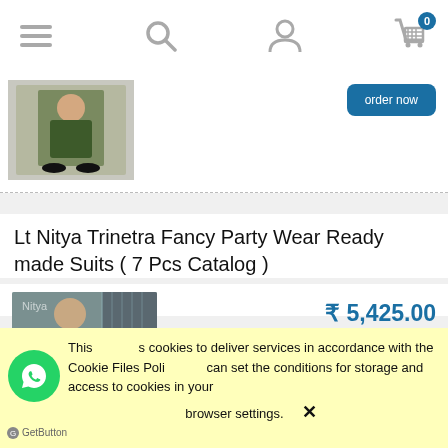[Figure (screenshot): E-commerce website screenshot showing navigation bar with hamburger menu, search, user, and cart icons (badge: 0), a partial previous product image of a woman in a green outfit, and a product listing for Lt Nitya Trinetra Fancy Party Wear Ready made Suits (7 Pcs Catalog) priced at ₹5,425.00 (1 pcs = ₹775.00), with an order now button, and a cookie consent banner at the bottom.]
Lt Nitya Trinetra Fancy Party Wear Ready made Suits ( 7 Pcs Catalog )
₹ 5,425.00
( 1 pcs = ₹ 775.00 )
excl. 5% TAX, excl. shipping costs
order now
This site uses cookies to deliver services in accordance with the Cookie Files Policy. You can set the conditions for storage and access to cookies in your browser settings.